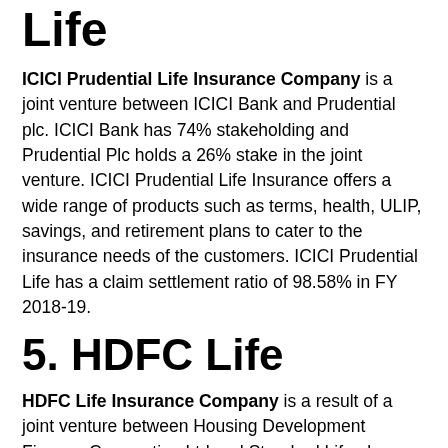Life
ICICI Prudential Life Insurance Company is a joint venture between ICICI Bank and Prudential plc. ICICI Bank has 74% stakeholding and Prudential Plc holds a 26% stake in the joint venture. ICICI Prudential Life Insurance offers a wide range of products such as terms, health, ULIP, savings, and retirement plans to cater to the insurance needs of the customers. ICICI Prudential Life has a claim settlement ratio of 98.58% in FY 2018-19.
5. HDFC Life
HDFC Life Insurance Company is a result of a joint venture between Housing Development Finance Corporation Ltd and Standard Life plc. HDFC ltd owns 70.65% shareholding and the remaining 26% of shares are held by Standard Life. HDFC Life offers a range of life insurance products including term insurance, health cover, pension, child plans, saving, and investment plans. HDFC